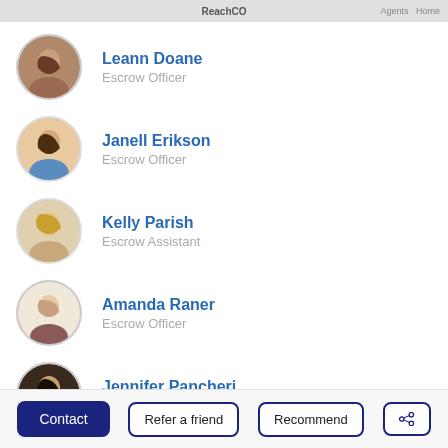ReachCO · Agents · Home
Leann Doane — Escrow Officer
Janell Erikson — Escrow Officer
Kelly Parish — Escrow Assistant
Amanda Raner — Escrow Officer
Jennifer Pancheri — Escrow Officer
Tim Mikulin — AVP Sales Executive
Contact | Refer a friend | Recommend | Share